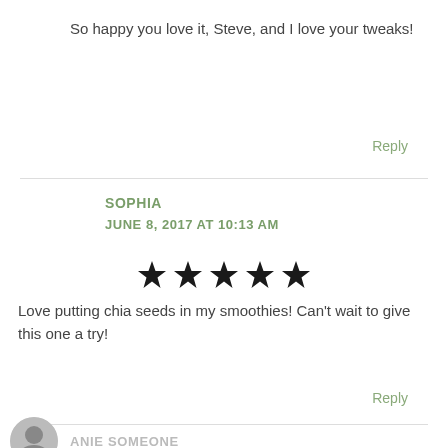So happy you love it, Steve, and I love your tweaks!
Reply
SOPHIA
JUNE 8, 2017 AT 10:13 AM
[Figure (other): Five filled black stars rating]
Love putting chia seeds in my smoothies! Can't wait to give this one a try!
Reply
ANIE SOMEONE